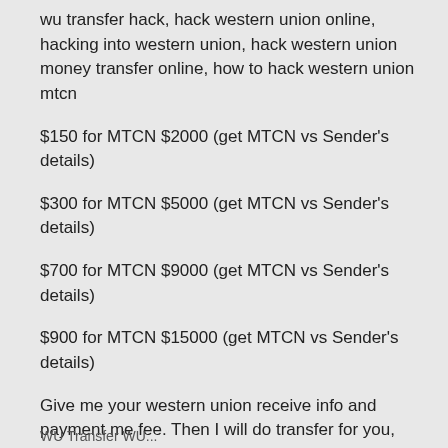wu transfer hack, hack western union online, hacking into western union, hack western union money transfer online, how to hack western union mtcn
$150 for MTCN $2000 (get MTCN vs Sender's details)
$300 for MTCN $5000 (get MTCN vs Sender's details)
$700 for MTCN $9000 (get MTCN vs Sender's details)
$900 for MTCN $15000 (get MTCN vs Sender's details)
Give me your western union receive info and payment me fee. Then I will do transfer for you, After about 30 mins you'll have MTCN and sender's name.
sell wu transfer, sell western union mtcn, hacker wu transfer, hack money transfer western union, western union bug software
WU Transfer WU...